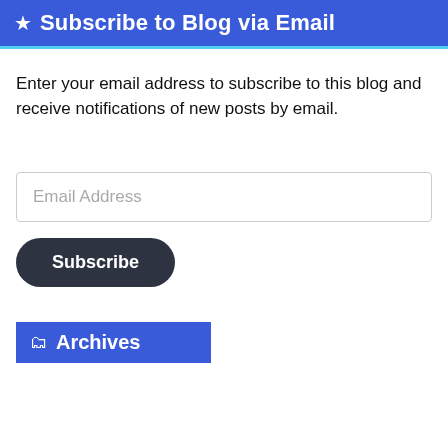★ Subscribe to Blog via Email
Enter your email address to subscribe to this blog and receive notifications of new posts by email.
[Figure (screenshot): Email address input field with placeholder text 'Email Address']
[Figure (screenshot): Dark rounded Subscribe button]
🗂 Archives
[Figure (photo): Advertisement for Ripcord Arrow Rest showing 'DRIVE CAGE' text with a mechanical arrow rest device on dark/red background, with 'LEARN MORE' button]